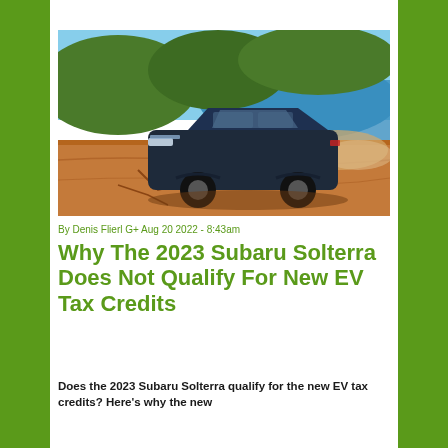[Figure (photo): A dark blue Subaru Solterra EV SUV driving on a dusty red dirt road on a hillside overlooking a coastal bay with blue water and green hills in the background.]
By Denis Flierl G+ Aug 20 2022 - 8:43am
Why The 2023 Subaru Solterra Does Not Qualify For New EV Tax Credits
Does the 2023 Subaru Solterra qualify for the new EV tax credits? Here's why the new